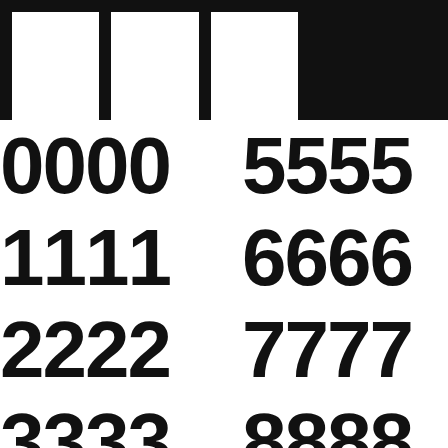[Figure (other): Barcode / registration mark graphic at top, black with white vertical bars]
0000  5555
1111  6666
2222  7777
3333  8888
4444  (partially visible at bottom)